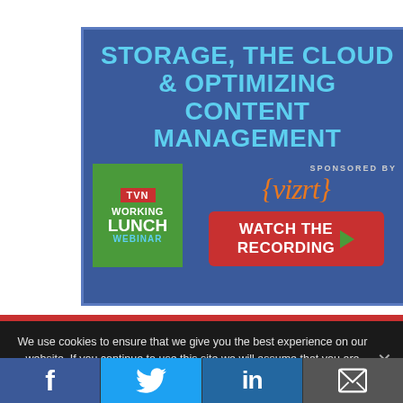[Figure (infographic): Advertisement banner for TVN Working Lunch Webinar on Storage, The Cloud & Optimizing Content Management sponsored by Vizrt with a 'Watch the Recording' button on a blue background]
We use cookies to ensure that we give you the best experience on our website. If you continue to use this site we will assume that you are happy with it.
[Figure (infographic): Social media share icons: Facebook, Twitter, LinkedIn, and Email at the bottom of the page]